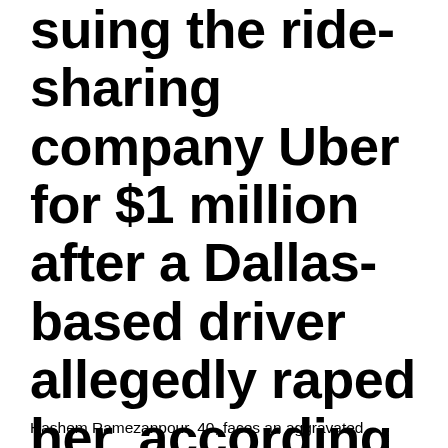suing the ride-sharing company Uber for $1 million after a Dallas-based driver allegedly raped her, according to a lawsuit.
Hashem Ramezanpour, 40, faces an aggravated